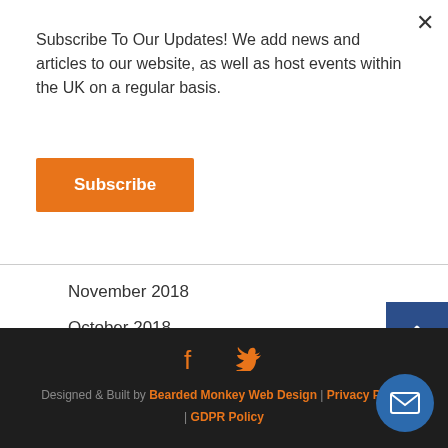Subscribe To Our Updates! We add news and articles to our website, as well as host events within the UK on a regular basis.
Subscribe
November 2018
October 2018
September 2018
August 2018
Designed & Built by Bearded Monkey Web Design | Privacy Policy | GDPR Policy